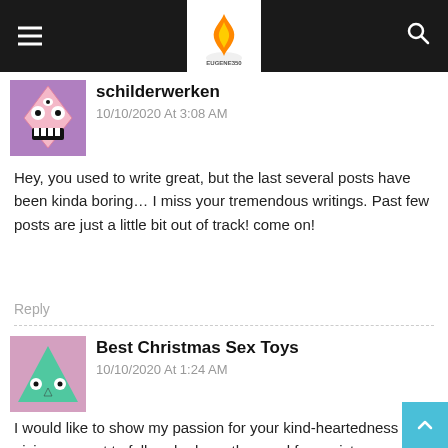Eugene350 — site header with hamburger menu, logo, and search icon
schilderwerken
10/10/2020 At 3:08 AM
Hey, you used to write great, but the last several posts have been kinda boring… I miss your tremendous writings. Past few posts are just a little bit out of track! come on!
Reply
Best Christmas Sex Toys
10/10/2020 At 1:24 AM
I would like to show my passion for your kind-heartedness giving support to folks who have the need for assistance with the subject. Your very own dedication to passing the solution throughout had become quite good and have in most cases helped workers just like me to arrive at their ambitions. This valuable help and